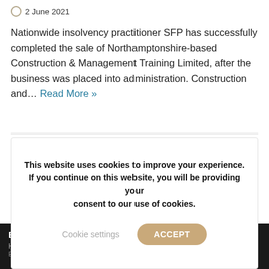2 June 2021
Nationwide insolvency practitioner SFP has successfully completed the sale of Northamptonshire-based Construction & Management Training Limited, after the business was placed into administration. Construction and... Read More »
This website uses cookies to improve your experience. If you continue on this website, you will be providing your consent to our use of cookies.
Cookie settings
ACCEPT
B
H...